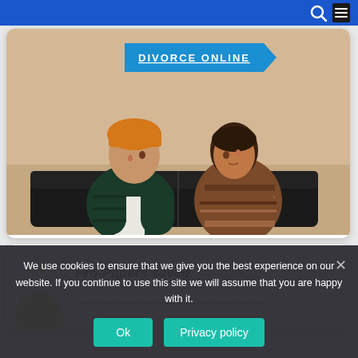[Figure (screenshot): Website screenshot showing a legal/divorce online service page with navigation bar, a photo of a couple sitting apart looking at each other, a 'DIVORCE ONLINE' banner, a testimonial card starting with 'Pro-Papers saved', and a cookie consent banner at the bottom.]
DIVORCE ONLINE
Pro-Papers saved
We use cookies to ensure that we give you the best experience on our website. If you continue to use this site we will assume that you are happy with it.
Ok
Privacy policy